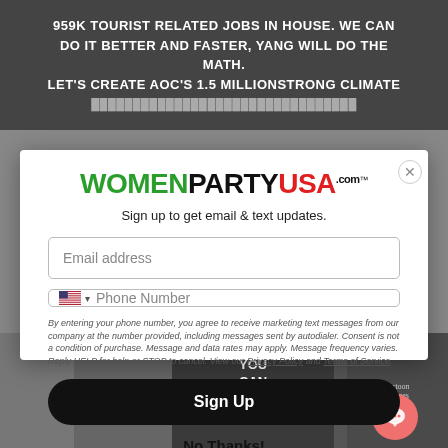[Figure (screenshot): Dark gray background with white bold uppercase text: '959K TOURIST RELATED JOBS IN HOUSE. WE CAN DO IT BETTER AND FASTER, YANG WILL DO THE MATH. LET'S CREATE AOC'S 1.5 MILLIONSTRONG CLIMATE...']
[Figure (screenshot): WomenPartyUSA.com popup modal with logo, sign up form, email and phone fields, disclaimer, Sign Up button, No Thanks link]
WOMENPARTYUSA.com
Sign up to get email & text updates.
Email address
Phone Number
By entering your phone number, you agree to receive marketing text messages from our company at the number provided, including messages sent by autodialer. Consent is not a condition of purchase. Message and data rates may apply. Message frequency varies. Reply HELP for help or STOP to cancel. View our Privacy Policy and Terms of Service.
Sign Up
No Thanks!
[Figure (screenshot): Bottom dark background with meme-style images: person with text 'YOU CAN EAT A DICK.' and other cartoon/comic images. Coral-colored chat bubble button in bottom right.]